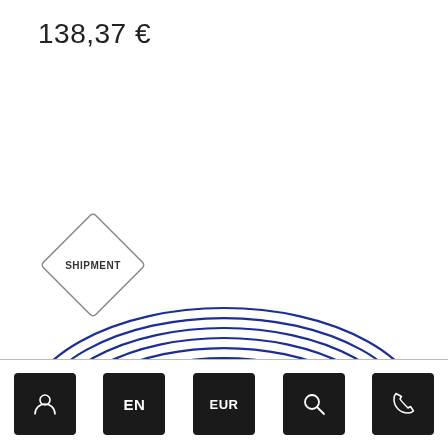138,37 €
[Figure (logo): Diamond-shaped badge with text SHIPMENT inside]
[Figure (logo): SKC company logo — blue elliptical logo with concentric arcs and large SKC letters]
User icon | EN | EUR | Search icon | Phone icon